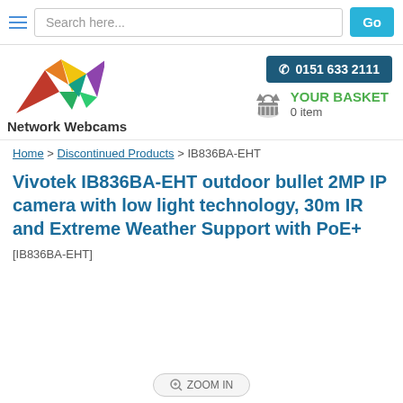Search here... Go
[Figure (logo): Network Webcams colorful logo with text 'Network Webcams']
0151 633 2111
YOUR BASKET 0 item
Home > Discontinued Products > IB836BA-EHT
Vivotek IB836BA-EHT outdoor bullet 2MP IP camera with low light technology, 30m IR and Extreme Weather Support with PoE+ [IB836BA-EHT]
[Figure (other): Product image area (blank/white) with zoom in button]
Ready to buy?